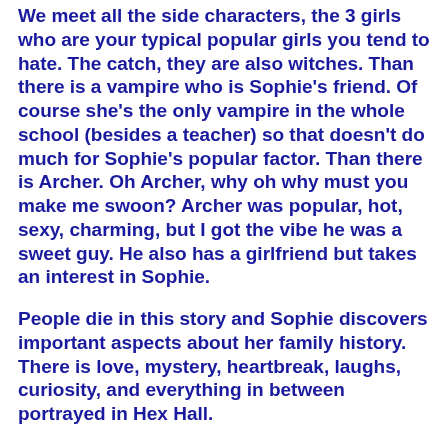We meet all the side characters, the 3 girls who are your typical popular girls you tend to hate. The catch, they are also witches. Than there is a vampire who is Sophie's friend. Of course she's the only vampire in the whole school (besides a teacher) so that doesn't do much for Sophie's popular factor. Than there is Archer. Oh Archer, why oh why must you make me swoon? Archer was popular, hot, sexy, charming, but I got the vibe he was a sweet guy. He also has a girlfriend but takes an interest in Sophie.
People die in this story and Sophie discovers important aspects about her family history. There is love, mystery, heartbreak, laughs, curiosity, and everything in between portrayed in Hex Hall.
Honestly, I did not see that ending coming at all. I just sat there for a few minutes and let it all sink in! How crazy was that?
Overall: I loved Hex Hall!!! Such a great book! I loved how there are so many different characters and they are all so much different from one another. I can't wait until